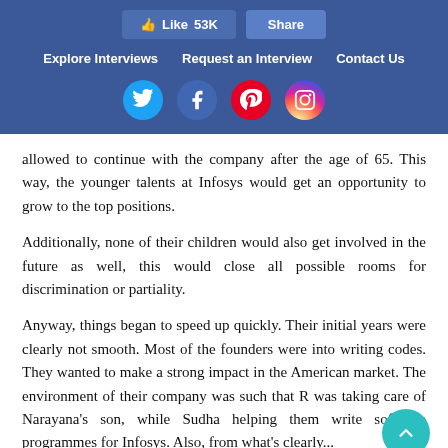[Figure (screenshot): Facebook Like (53K) and Share buttons]
Explore Interviews    Request an Interview    Contact Us
[Figure (infographic): Social media icons: Twitter, Facebook, Pinterest, Instagram]
allowed to continue with the company after the age of 65. This way, the younger talents at Infosys would get an opportunity to grow to the top positions.
Additionally, none of their children would also get involved in the future as well, this would close all possible rooms for discrimination or partiality.
Anyway, things began to speed up quickly. Their initial years were clearly not smooth. Most of the founders were into writing codes. They wanted to make a strong impact in the American market. The environment of their company was such that R was taking care of Narayana's son, while Sudha helping them write software programmes for Infosys. Also, from what's clearly...